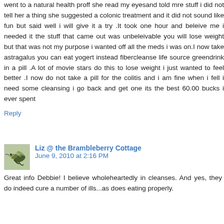went to a natural health proff she read my eyesand told mre stuff i did not tell her a thing she suggested a colonic treatment and it did not sound like fun but said well i will give it a try .It took one hour and beleive me i needed it the stuff that came out was unbeleivable you will lose weight but that was not my purpose i wanted off all the meds i was on.I now take astragalus you can eat yogert instead fibercleanse life source greendrink in a pill .A lot of movie stars do this to lose weight i just wanted to feel better .I now do not take a pill for the colitis and i am fine when i fell i need some cleansing i go back and get one its the best 60.00 bucks i ever spent
Reply
Liz @ the Brambleberry Cottage June 9, 2010 at 2:16 PM
Great info Debbie! I believe wholeheartedly in cleanses. And yes, they do indeed cure a number of ills...as does eating properly.